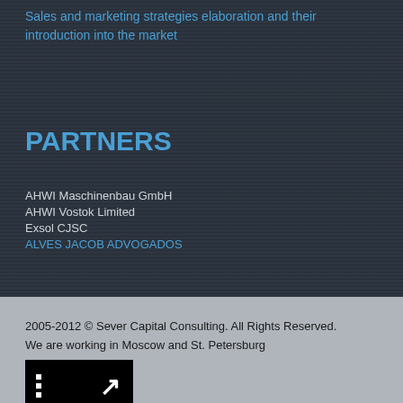Sales and marketing strategies elaboration and their introduction into the market
PARTNERS
AHWI Maschinenbau GmbH
AHWI Vostok Limited
Exsol CJSC
ALVES JACOB ADVOGADOS
2005-2012 © Sever Capital Consulting. All Rights Reserved.
We are working in Moscow and St. Petersburg
[Figure (logo): Black rectangle with small white grid dots on the left and a white arrow pointing upper-right on the right]